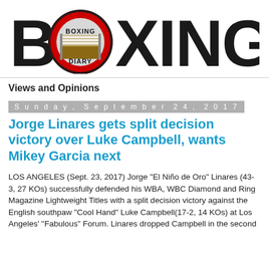[Figure (logo): Boxing Diary logo with large bold black 'BOXING' text where the O is replaced by a red-ringed circular emblem containing a boxing ring image and the text 'BOXING DIARY']
Views and Opinions
Sunday, September 24, 2017
Jorge Linares gets split decision victory over Luke Campbell, wants Mikey Garcia next
LOS ANGELES (Sept. 23, 2017) Jorge "El Niño de Oro" Linares (43-3, 27 KOs) successfully defended his WBA, WBC Diamond and Ring Magazine Lightweight Titles with a split decision victory against the English southpaw "Cool Hand" Luke Campbell(17-2, 14 KOs) at Los Angeles' "Fabulous" Forum. Linares dropped Campbell in the second